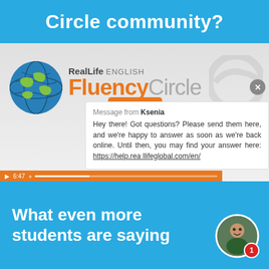Circle community?
[Figure (screenshot): RealLife English Fluency Circle video thumbnail with globe logo, orange play button, a chat popup from Ksenia, and a video progress bar showing 6:47]
Message from Ksenia
Hey there! Got questions? Please send them here, and we're happy to answer as soon as we're back online. Until then, you may find your answer here: https://help.reallifeglobal.com/en/
What even more students are saying